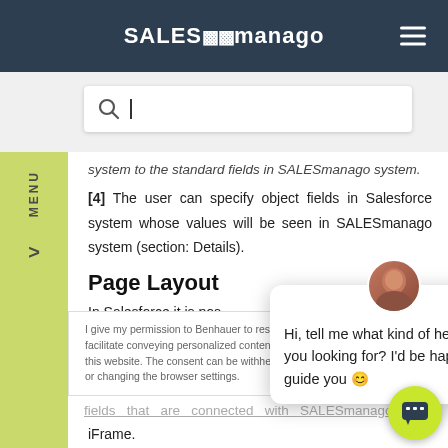SALESmanago
[Figure (screenshot): Search bar with magnifying glass icon and text cursor]
system to the standard fields in SALESmanago system.
[4] The user can specify object fields in Salesforce system whose values will be seen in SALESmanago system (section: Details).
Page Layout
In Salesforce it is pos
[Figure (screenshot): Chat popup with avatar: Hi, tell me what kind of help are you looking for? I'd be happy to guide you 🙂]
I give my permission to Benhauer to research my preferences which will facilitate conveying personalized content and improve the functioning of this website. The consent can be withheld at any time by sending an email or changing the browser settings.
fields that are connected with SALESmanago
iFrame.